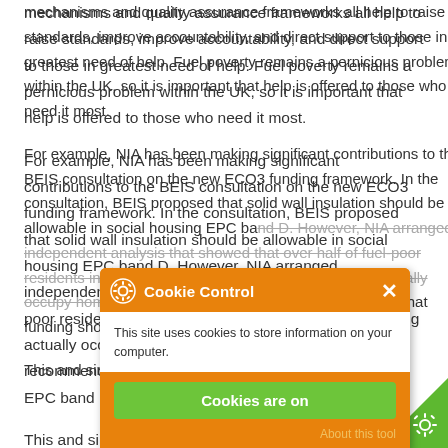mechanisms and quality assurance frameworks all help to raise standards, improve accountability, and direct support to those in greatest need of help. Fuel poverty remains a pernicious problem within the UK, so it is important that help is offered to those who need it most.
For example, NIA has been making significant contributions to the BEIS consultation on the new ECO3 funding framework. In the consultation, BEIS proposed that solid wall insulation should be allowable in social housing EPC band D. However, NIA arranged independent analysis that showed that over half of fuel-poor residents in un-insulated, solid-walled social housing actually occupy homes in band D. It has therefore recommended that funding should also be allowable for EPC band D.
This and similar work continues throughout
[Figure (screenshot): Cookie Control popup overlay with orange header showing gear icon and 'Cookie Control' title with X close button. Body text reads 'This site uses cookies to store information on your computer.' Green 'Cookies are on' button. 'About this tool' link in gold color.]